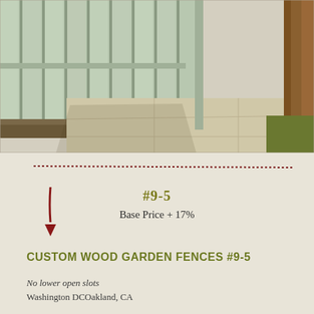[Figure (photo): Photograph of a custom wood garden fence with vertical board-and-batten panels painted light sage/green, alongside a concrete sidewalk with gravel border strip and a tree trunk on the right side.]
#9-5
Base Price + 17%
CUSTOM WOOD GARDEN FENCES #9-5
No lower open slots
Washington DCOakland, CA